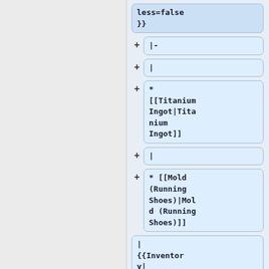[Figure (screenshot): Wiki editor diff/node view showing a two-column layout. Left column is gray/empty. Right column shows a series of blue-highlighted code nodes in a wiki markup editor, each with a + expand button. Nodes contain wiki markup code: 'less=false }}', '|-', '|', '* [[Titanium Ingot|Titanium Ingot]]', '|', '* [[Mold (Running Shoes)|Mold (Running Shoes)]]', '| {{Inventory|']